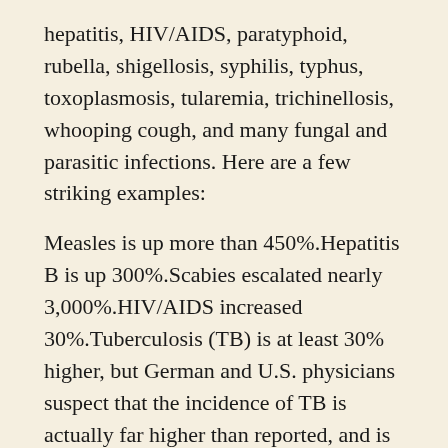hepatitis, HIV/AIDS, paratyphoid, rubella, shigellosis, syphilis, typhus, toxoplasmosis, tularemia, trichinellosis, whooping cough, and many fungal and parasitic infections. Here are a few striking examples:
Measles is up more than 450%.Hepatitis B is up 300%.Scabies escalated nearly 3,000%.HIV/AIDS increased 30%.Tuberculosis (TB) is at least 30% higher, but German and U.S. physicians suspect that the incidence of TB is actually far higher than reported, and is being downplayed to avoid causing public outrage over the influx of immigrants. In Germany, more than 40% of